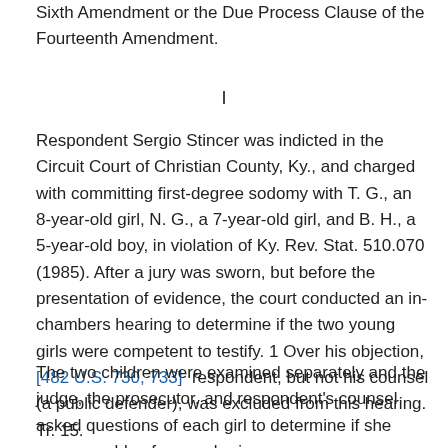Sixth Amendment or the Due Process Clause of the Fourteenth Amendment.
I
Respondent Sergio Stincer was indicted in the Circuit Court of Christian County, Ky., and charged with committing first-degree sodomy with T. G., an 8-year-old girl, N. G., a 7-year-old girl, and B. H., a 5-year-old boy, in violation of Ky. Rev. Stat. 510.070 (1985). After a jury was sworn, but before the presentation of evidence, the court conducted an in-chambers hearing to determine if the two young girls were competent to testify. 1 Over his objection, [482 U.S. 730, 733]  respondent, but not his counsel (a public defender), was excluded from this hearing. Tr. 15.
The two children were examined separately and the judge, the prosecutor, and respondent's counsel asked questions of each girl to determine if she were capable of remembering